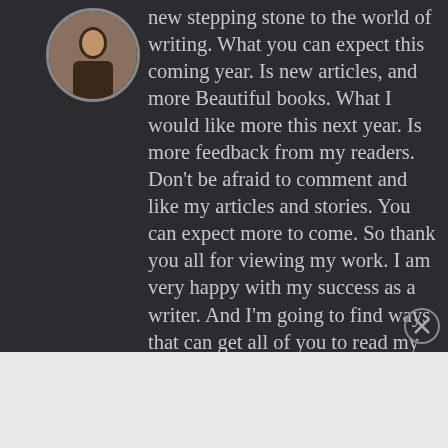[Figure (photo): Circular avatar photo of a person, dark tones]
new stepping stone to the world of writing. What you can expect this coming year. Is new articles, and more Beautiful books. What I would like more this next year. Is more feedback from my readers. Don't be afraid to comment and like my articles and stories. You can expect more to come. So thank you all for viewing my work. I am very happy with my success as a writer. And I'm going to find ways that can get all of you to read my work. Thanks again. And have a great day! View all posts by Anjalee Jadav
Advertisements
[Figure (screenshot): DuckDuckGo advertisement banner: orange left panel with text 'Search, browse, and email with more privacy. All in One Free App', dark right panel with DuckDuckGo logo]